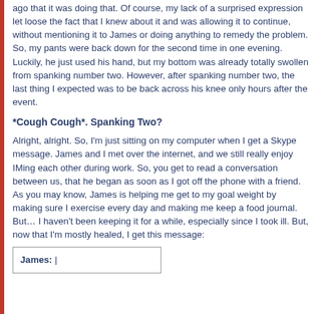ago that it was doing that. Of course, my lack of a surprised expression let loose the fact that I knew about it and was allowing it to continue, without mentioning it to James or doing anything to remedy the problem. So, my pants were back down for the second time in one evening. Luckily, he just used his hand, but my bottom was already totally swollen from spanking number two. However, after spanking number two, the last thing I expected was to be back across his knee only hours after the event.
*Cough Cough*. Spanking Two?
Alright, alright. So, I'm just sitting on my computer when I get a Skype message. James and I met over the internet, and we still really enjoy IMing each other during work. So, you get to read a conversation between us, that he began as soon as I got off the phone with a friend. As you may know, James is helping me get to my goal weight by making sure I exercise every day and making me keep a food journal. But… I haven't been keeping it for a while, especially since I took ill. But, now that I'm mostly healed, I get this message:
James: |